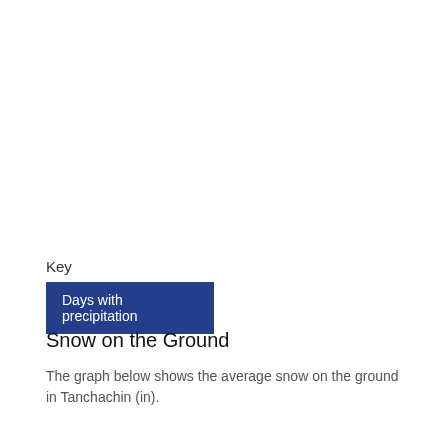Key
Days with precipitation
Snow on the Ground
The graph below shows the average snow on the ground in Tanchachin (in).